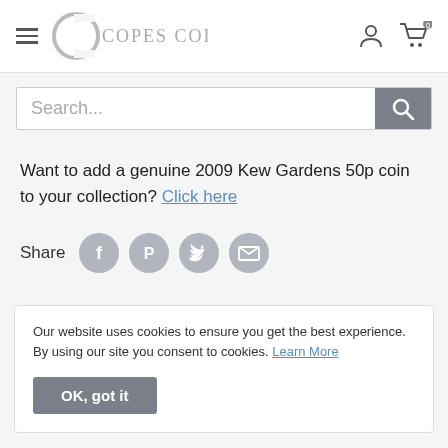COPES COINS
Want to add a genuine 2009 Kew Gardens 50p coin to your collection? Click here
Share
[Figure (infographic): Share icons row: Facebook, Pinterest, Twitter, Email]
Our website uses cookies to ensure you get the best experience. By using our site you consent to cookies. Learn More
OK, got it